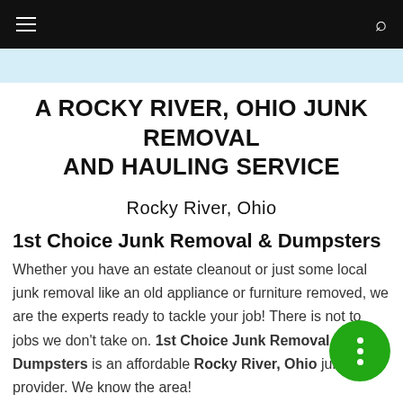Navigation bar with hamburger menu and search icon
A ROCKY RIVER, OHIO JUNK REMOVAL AND HAULING SERVICE
Rocky River, Ohio
1st Choice Junk Removal & Dumpsters
Whether you have an estate cleanout or just some local junk removal like an old appliance or furniture removed, we are the experts ready to tackle your job! There is not to jobs we don't take on. 1st Choice Junk Removal & Dumpsters is an affordable Rocky River, Ohio junk provider. We know the area!